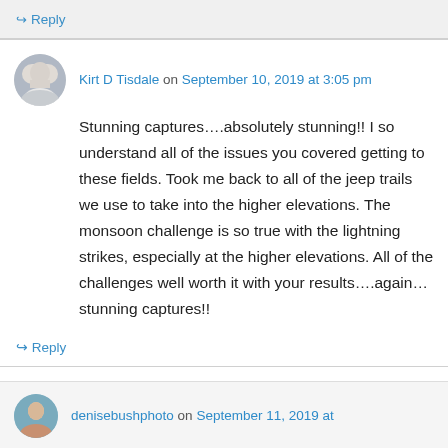↳ Reply
Kirt D Tisdale on September 10, 2019 at 3:05 pm
Stunning captures….absolutely stunning!! I so understand all of the issues you covered getting to these fields. Took me back to all of the jeep trails we use to take into the higher elevations. The monsoon challenge is so true with the lightning strikes, especially at the higher elevations. All of the challenges well worth it with your results….again…stunning captures!!
↳ Reply
denisebushphoto on September 11, 2019 at